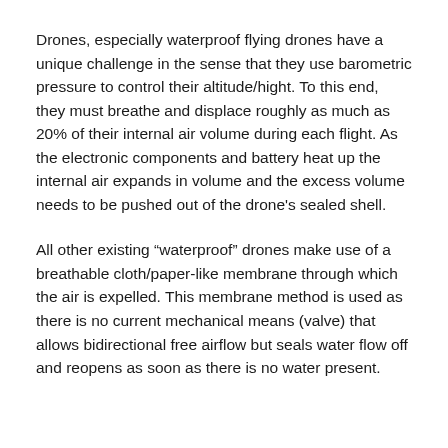Drones, especially waterproof flying drones have a unique challenge in the sense that they use barometric pressure to control their altitude/hight. To this end, they must breathe and displace roughly as much as 20% of their internal air volume during each flight. As the electronic components and battery heat up the internal air expands in volume and the excess volume needs to be pushed out of the drone’s sealed shell.
All other existing “waterproof” drones make use of a breathable cloth/paper-like membrane through which the air is expelled. This membrane method is used as there is no current mechanical means (valve) that allows bidirectional free airflow but seals water flow off and reopens as soon as there is no water present.